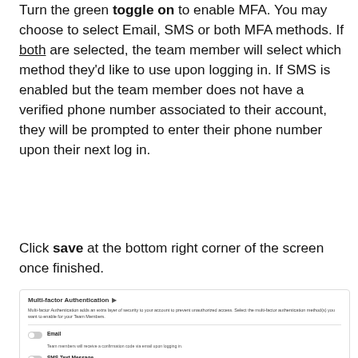Turn the green toggle on to enable MFA. You may choose to select Email, SMS or both MFA methods. If both are selected, the team member will select which method they'd like to use upon logging in. If SMS is enabled but the team member does not have a verified phone number associated to their account, they will be prompted to enter their phone number upon their next log in.
Click save at the bottom right corner of the screen once finished.
[Figure (screenshot): Screenshot of Multi-factor Authentication settings panel showing Email and SMS Text Message toggle options, both toggled off.]